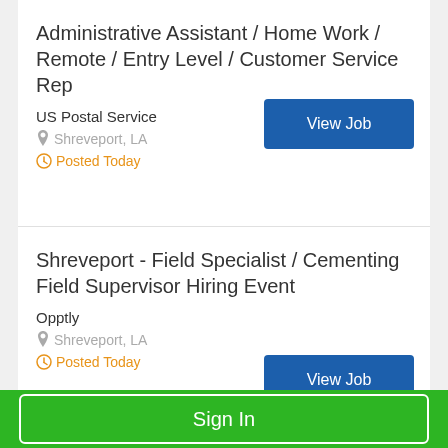Administrative Assistant / Home Work / Remote / Entry Level / Customer Service Rep
US Postal Service
Shreveport, LA
Posted Today
Shreveport - Field Specialist / Cementing Field Supervisor Hiring Event
Opptly
Shreveport, LA
Posted Today